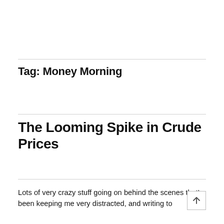Tag: Money Morning
The Looming Spike in Crude Prices
Lots of very crazy stuff going on behind the scenes that's been keeping me very distracted, and writing to